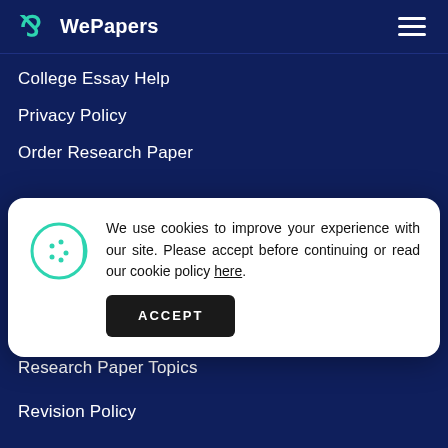WePapers
College Essay Help
Privacy Policy
Order Research Paper
We use cookies to improve your experience with our site. Please accept before continuing or read our cookie policy here.
ACCEPT
Essay Help
Research Paper Topics
Revision Policy